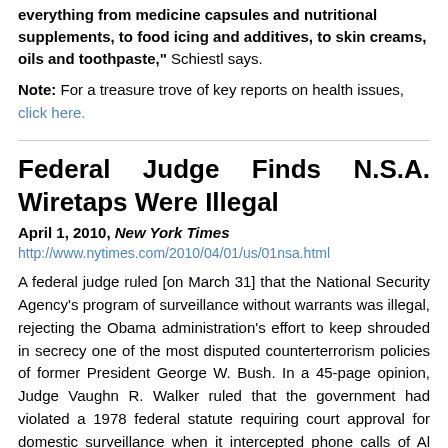everything from medicine capsules and nutritional supplements, to food icing and additives, to skin creams, oils and toothpaste," Schiestl says.
Note: For a treasure trove of key reports on health issues, click here.
Federal Judge Finds N.S.A. Wiretaps Were Illegal
April 1, 2010, New York Times
http://www.nytimes.com/2010/04/01/us/01nsa.html
A federal judge ruled [on March 31] that the National Security Agency's program of surveillance without warrants was illegal, rejecting the Obama administration's effort to keep shrouded in secrecy one of the most disputed counterterrorism policies of former President George W. Bush. In a 45-page opinion, Judge Vaughn R. Walker ruled that the government had violated a 1978 federal statute requiring court approval for domestic surveillance when it intercepted phone calls of Al Haramain, a now-defunct Islamic charity in Oregon, and of two lawyers representing it in 2004. Declaring that the plaintiffs had been "subjected to unlawful surveillance," the judge said the government